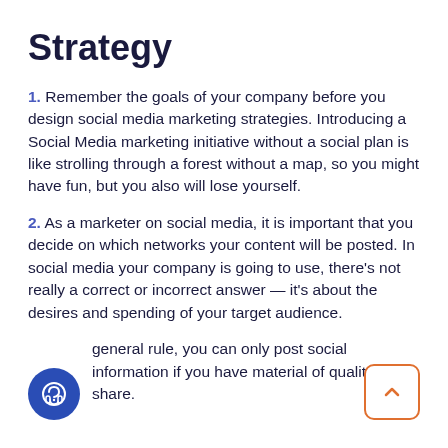Strategy
1. Remember the goals of your company before you design social media marketing strategies. Introducing a Social Media marketing initiative without a social plan is like strolling through a forest without a map, so you might have fun, but you also will lose yourself.
2. As a marketer on social media, it is important that you decide on which networks your content will be posted. In social media your company is going to use, there’s not really a correct or incorrect answer — it’s about the desires and spending of your target audience.
general rule, you can only post social information if you have material of quality to share.